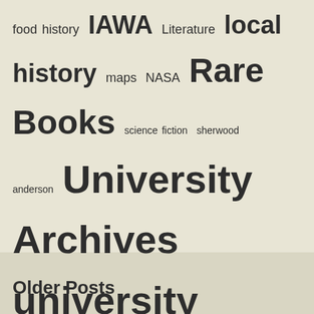[Figure (infographic): Tag cloud with terms of varying sizes: food history, IAWA, Literature, local history, maps, NASA, Rare Books, science fiction, sherwood anderson, University Archives, university history, university libraries, virginia, virginia agricultural and mechanical college, virginia agricultural and mechanical college and polytechnic institute, virginia polytechnic institute, virginia tech, vpi, women, Women's History, Women's History Month, World War II]
Older Posts